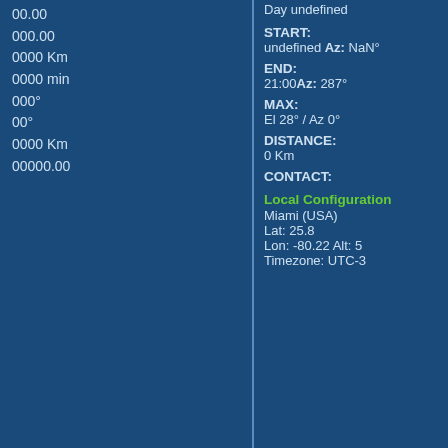00.00
000.00
0000 Km
0000 min
000°
00°
0000 Km
00000.00
Day undefined
START:
undefined Az:  NaN°
END:
21:00Az:  287°
MAX:
El 28° / Az 0°
DISTANCE:
0 Km
CONTACT:
Local Configuration
Miami (USA)
Lat:  25.8
Lon:  -80.22  Alt:  5
Timezone:   UTC-3